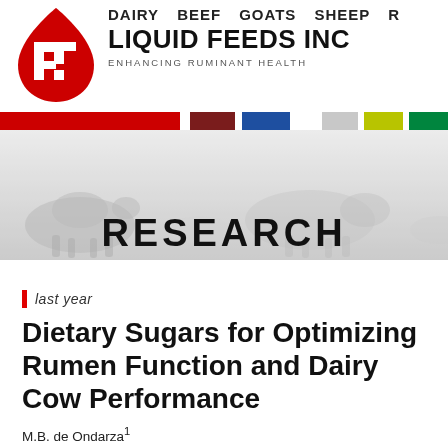[Figure (logo): Liquid Feeds Inc logo — red and white stylized LF mark]
DAIRY   BEEF   GOATS   SHEEP   R   LIQUID FEEDS INC   ENHANCING RUMINANT HEALTH
[Figure (photo): Greyscale background photo of dairy cows in a field]
RESEARCH
last year
Dietary Sugars for Optimizing Rumen Function and Dairy Cow Performance
M.B. de Ondarza1